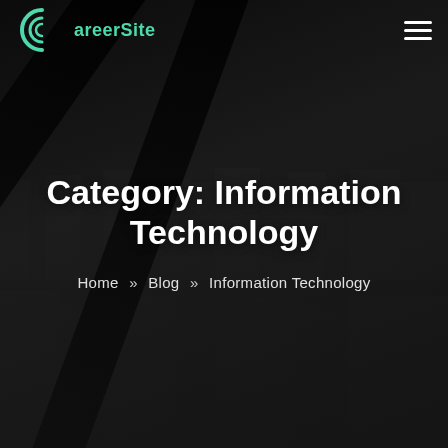[Figure (screenshot): CareerSite website header with dark city background, logo top-left, hamburger menu top-right, centered title 'Category: Information Technology' with breadcrumb navigation below]
Category: Information Technology
Home » Blog » Information Technology